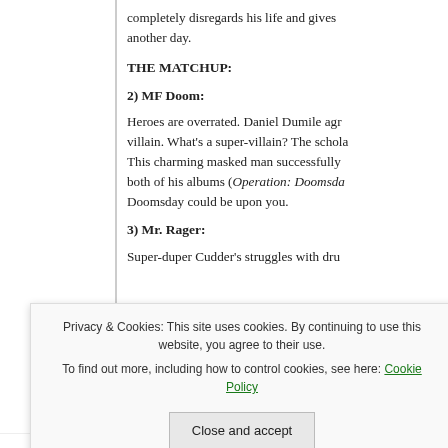completely disregards his life and gives another day.
THE MATCHUP:
2) MF Doom:
Heroes are overrated. Daniel Dumile agrees — he's a villain. What's a super-villain? The scholar... This charming masked man successfully both of his albums (Operation: Doomsda... Doomsday could be upon you.
3) Mr. Rager:
Super-duper Cudder's struggles with dru...
Privacy & Cookies: This site uses cookies. By continuing to use this website, you agree to their use.
To find out more, including how to control cookies, see here: Cookie Policy
Close and accept